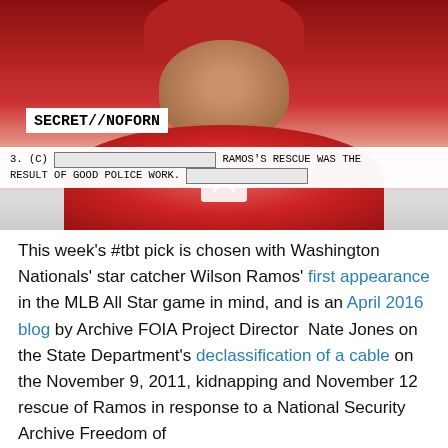[Figure (photo): Photo of Washington Nationals catcher Wilson Ramos in red catcher's gear and red cap, overlaid with a classified document label reading 'SECRET//NOFORN' and document text: '3. (C) [redacted] RAMOS'S RESCUE WAS THE RESULT OF GOOD POLICE WORK. [redacted]']
This week's #tbt pick is chosen with Washington Nationals' star catcher Wilson Ramos' first appearance in the MLB All Star game in mind, and is an April 2016 blog by Archive FOIA Project Director  Nate Jones on the State Department's declassification of a cable on the November 9, 2011, kidnapping and November 12 rescue of Ramos in response to a National Security Archive Freedom of